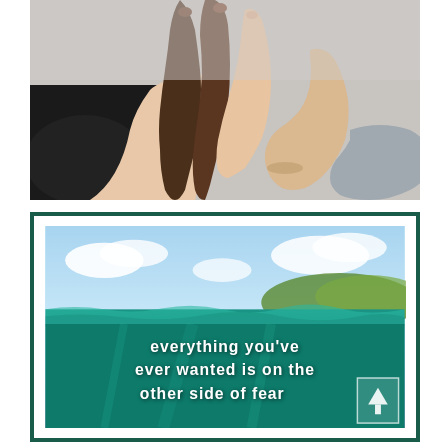[Figure (photo): Multiple diverse hands joined together in a team high-five gesture against a light grey background]
[Figure (photo): Split underwater/above water ocean photo with turquoise water and blue sky, overlaid with white bold text reading: 'everything you've ever wanted is on the other side of fear'. Dark green border frame around the image.]